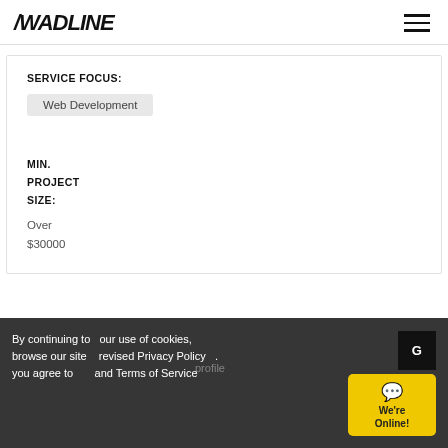/WADLINE
SERVICE FOCUS:
Web Development
MIN.
PROJECT
SIZE:
Over
$30000
By continuing to our use of cookies, browse our site revised Privacy Policy . you agree to and Terms of Service
We're Online!